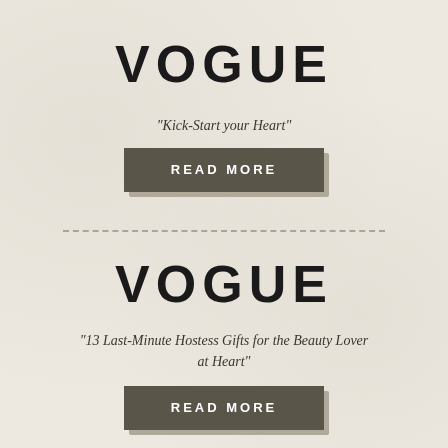VOGUE
"Kick-Start your Heart"
READ MORE
VOGUE
"13 Last-Minute Hostess Gifts for the Beauty Lover at Heart"
READ MORE